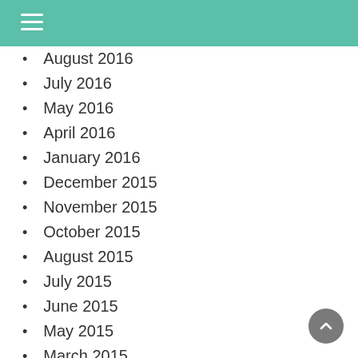August 2016
July 2016
May 2016
April 2016
January 2016
December 2015
November 2015
October 2015
August 2015
July 2015
June 2015
May 2015
March 2015
February 2015
January 2015
December 2014
November 2014